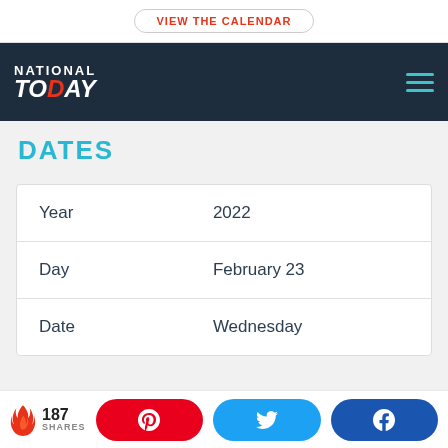VIEW THE CALENDAR
[Figure (logo): National Today logo with navigation bar on dark navy background]
DATES
| Year | 2022 |
| Day | February 23 |
| Date | Wednesday |
187 SHARES — Pinterest, Twitter, Facebook share buttons